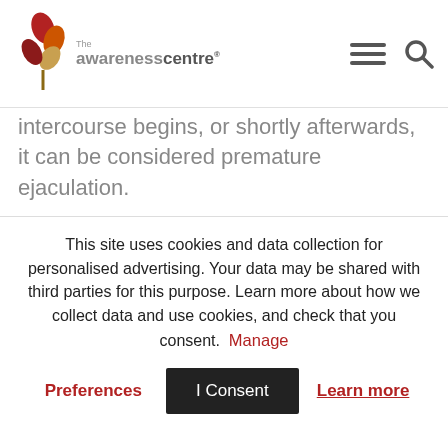The Awareness Centre
intercourse begins, or shortly afterwards, it can be considered premature ejaculation.
Estimates vary, but as many as one in three men may be affected by this problem at some point. Both psychological and biological factors can play a role in premature ejaculation. Although many men feel embarrassed to talk about it, premature ejaculation is a common and treatable condition. Counselling and
This site uses cookies and data collection for personalised advertising. Your data may be shared with third parties for this purpose. Learn more about how we collect data and use cookies, and check that you consent. Manage
Preferences  I Consent  Learn more